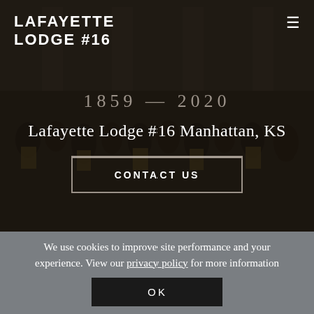[Figure (photo): A large group of Masonic lodge members in formal attire and regalia posed in front of a building, dark-toned photograph with overlay]
LAFAYETTE LODGE #16
1859 — 2020
Lafayette Lodge #16 Manhattan, KS
CONTACT US
We use cookies to improve site performance and your experience. View our privacy policy for more information
OK